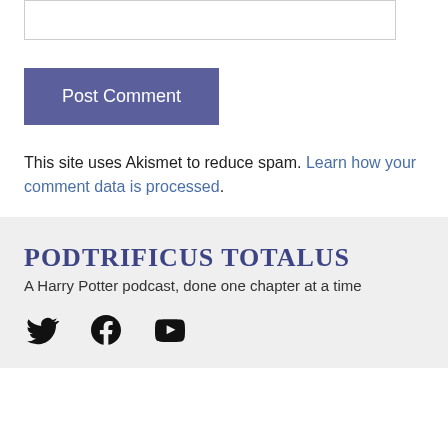[input box]
Post Comment
This site uses Akismet to reduce spam. Learn how your comment data is processed.
PODTRIFICUS TOTALUS
A Harry Potter podcast, done one chapter at a time
[Figure (illustration): Social media icons: Twitter bird, Facebook circle, YouTube play button]